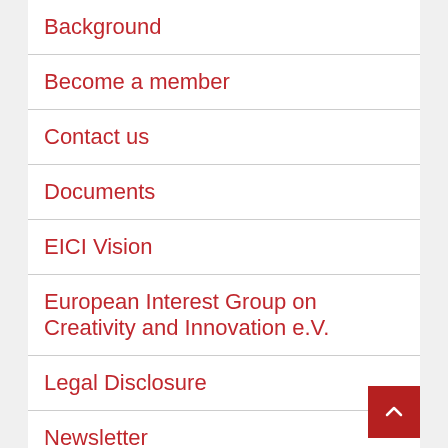Background
Become a member
Contact us
Documents
EICI Vision
European Interest Group on Creativity and Innovation e.V.
Legal Disclosure
Newsletter
Organizational Chart